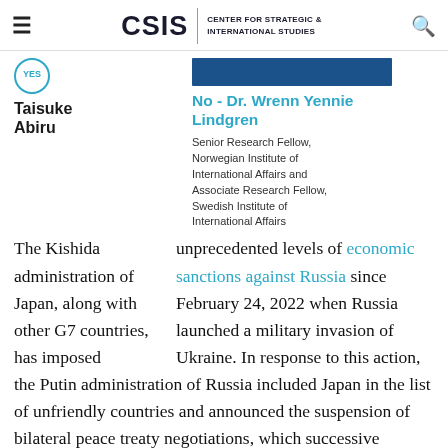CSIS | CENTER FOR STRATEGIC & INTERNATIONAL STUDIES
Taisuke Abiru
No - Dr. Wrenn Yennie Lindgren
Senior Research Fellow, Norwegian Institute of International Affairs and Associate Research Fellow, Swedish Institute of International Affairs
The Kishida administration of Japan, along with other G7 countries, has imposed unprecedented levels of economic sanctions against Russia since February 24, 2022 when Russia launched a military invasion of Ukraine. In response to this action, the Putin administration of Russia included Japan in the list of unfriendly countries and announced the suspension of bilateral peace treaty negotiations, which successive Japanese governments had worked hard on.